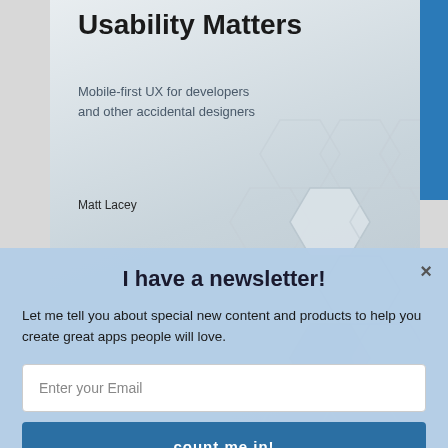[Figure (illustration): Book cover for 'Usability Matters: Mobile-first UX for developers and other accidental designers' by Matt Lacey, published by Manning. Cover shows a hexagonal geometric pattern in light blue-gray tones. A 'POWERED BY SUMO' badge is visible at the bottom of the cover area.]
I have a newsletter!
Let me tell you about special new content and products to help you create great apps people will love.
Enter your Email
count me in!